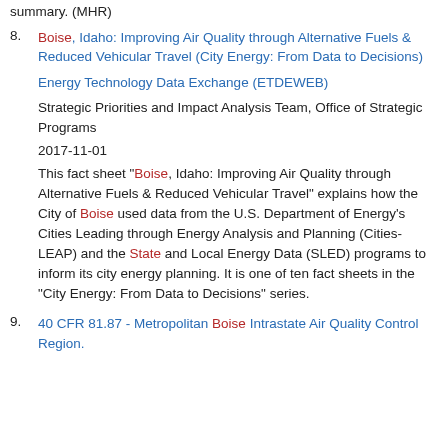summary. (MHR)
8. Boise, Idaho: Improving Air Quality through Alternative Fuels & Reduced Vehicular Travel (City Energy: From Data to Decisions)
Energy Technology Data Exchange (ETDEWEB)
Strategic Priorities and Impact Analysis Team, Office of Strategic Programs
2017-11-01
This fact sheet "Boise, Idaho: Improving Air Quality through Alternative Fuels & Reduced Vehicular Travel" explains how the City of Boise used data from the U.S. Department of Energy's Cities Leading through Energy Analysis and Planning (Cities-LEAP) and the State and Local Energy Data (SLED) programs to inform its city energy planning. It is one of ten fact sheets in the "City Energy: From Data to Decisions" series.
9. 40 CFR 81.87 - Metropolitan Boise Intrastate Air Quality Control Region.